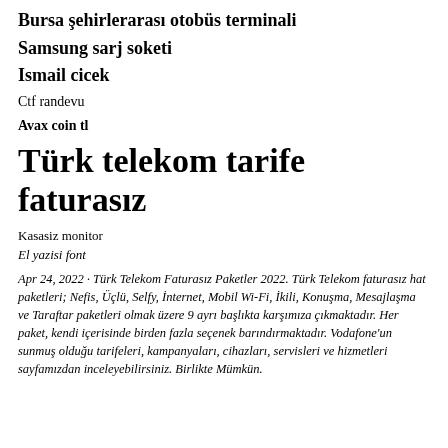Bursa şehirlerarası otobüs terminali
Samsung sarj soketi
Ismail cicek
Ctf randevu
Avax coin tl
Türk telekom tarife faturasız
Kasasiz monitor
El yazisi font
Apr 24, 2022 · Türk Telekom Faturasız Paketler 2022. Türk Telekom faturasız hat paketleri; Nefis, Üçlü, Selfy, İnternet, Mobil Wi-Fi, İkili, Konuşma, Mesajlaşma ve Taraftar paketleri olmak üzere 9 ayrı başlıkta karşımıza çıkmaktadır. Her paket, kendi içerisinde birden fazla seçenek barındırmaktadır. Vodafone'un sunmuş olduğu tarifeleri, kampanyaları, cihazları, servisleri ve hizmetleri sayfamızdan inceleyebilirsiniz. Birlikte Mümkün.